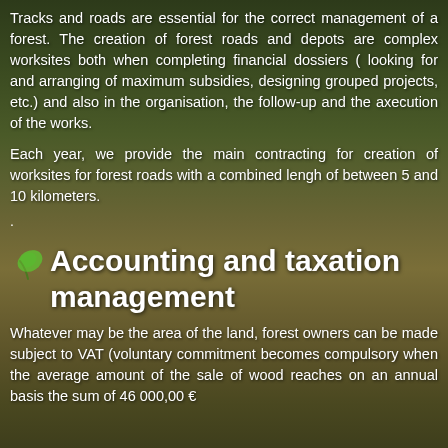Tracks and roads are essential for the correct management of a forest. The creation of forest roads and depots are complex worksites both when completing financial dossiers ( looking for and arranging of maximum subsidies, designing grouped projects, etc.) and also in the organisation, the follow-up and the axecution of the works.
Each year, we provide the main contracting for creation of worksites for forest roads with a combined lengh of between 5 and 10 kilometers.
.
Accounting and taxation management
Whatever may be the area of the land, forest owners can be made subject to VAT (voluntary commitment becomes compulsory when the average amount of the sale of wood reaches on an annual basis the sum of 46 000,00 €